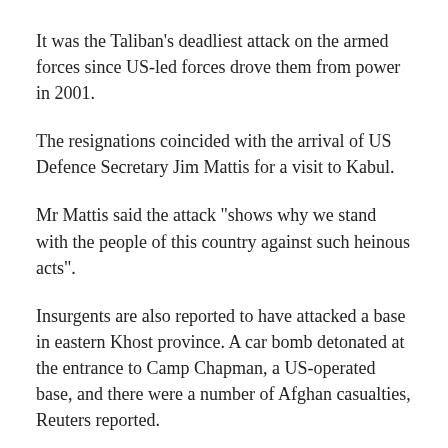It was the Taliban's deadliest attack on the armed forces since US-led forces drove them from power in 2001.
The resignations coincided with the arrival of US Defence Secretary Jim Mattis for a visit to Kabul.
Mr Mattis said the attack "shows why we stand with the people of this country against such heinous acts".
Insurgents are also reported to have attacked a base in eastern Khost province. A car bomb detonated at the entrance to Camp Chapman, a US-operated base, and there were a number of Afghan casualties, Reuters reported.
The resignations were announced in a brief statement.